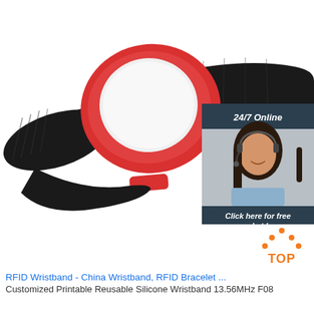[Figure (photo): RFID wristband with red plastic circular casing and black nylon strap, shown on white background. Overlaid with a customer service chat widget showing a woman with headset, '24/7 Online' text, 'Click here for free chat!' and 'QUOTATION' orange button. A 'TOP' logo with orange dots is visible at bottom right.]
RFID Wristband - China Wristband, RFID Bracelet ...
Customized Printable Reusable Silicone Wristband 13.56MHz F08